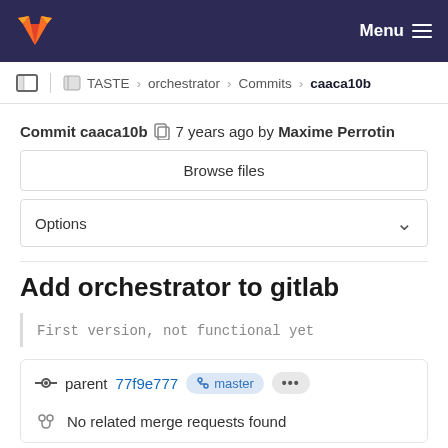GitLab navigation bar with Menu
TASTE › orchestrator › Commits › caaca10b
Commit caaca10b  7 years ago by Maxime Perrotin
Browse files
Options
Add orchestrator to gitlab
First version, not functional yet
parent 77f9e777  master  ...
No related merge requests found